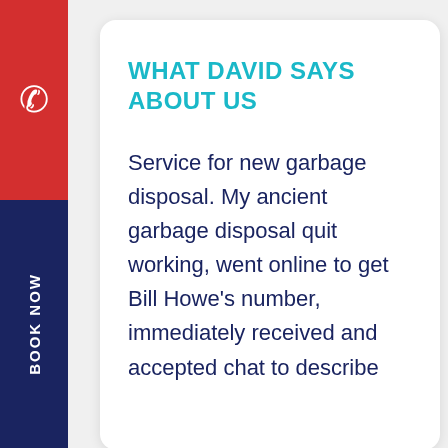WHAT DAVID SAYS ABOUT US
Service for new garbage disposal. My ancient garbage disposal quit working, went online to get Bill Howe's number, immediately received and accepted chat to describe